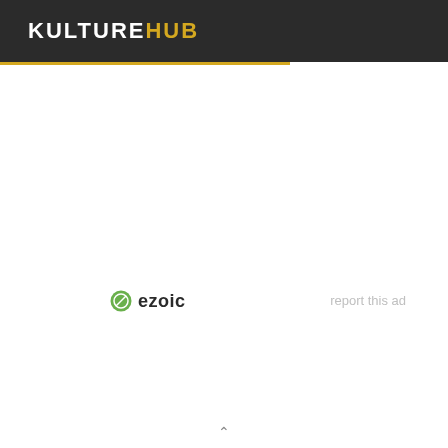KULTUREHUB
[Figure (logo): Ezoic logo with green circular icon and bold text 'ezoic']
report this ad